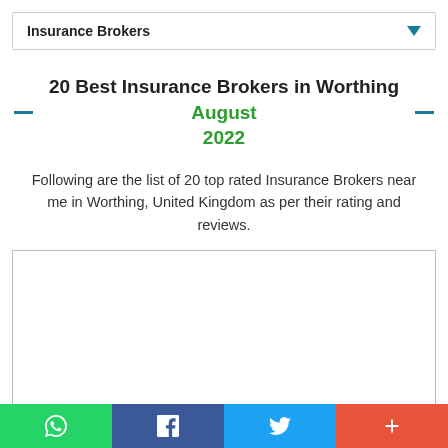Insurance Brokers
20 Best Insurance Brokers in Worthing August 2022
Following are the list of 20 top rated Insurance Brokers near me in Worthing, United Kingdom as per their rating and reviews.
[Figure (other): Advertisement placeholder box (empty white rectangle with border)]
Social share buttons: WhatsApp, Facebook, Twitter, Plus